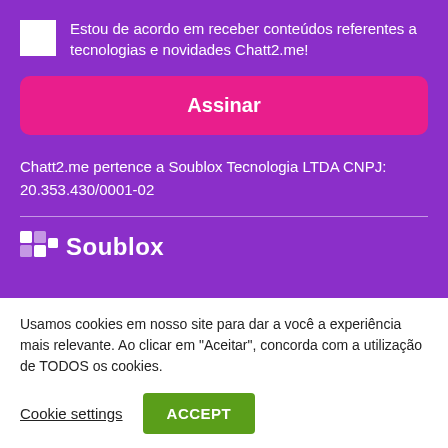Estou de acordo em receber conteúdos referentes a tecnologias e novidades Chatt2.me!
Assinar
Chatt2.me pertence a Soublox Tecnologia LTDA CNPJ: 20.353.430/0001-02
[Figure (logo): Soublox logo with grid icon and text]
Usamos cookies em nosso site para dar a você a experiência mais relevante. Ao clicar em "Aceitar", concorda com a utilização de TODOS os cookies.
Cookie settings
ACCEPT